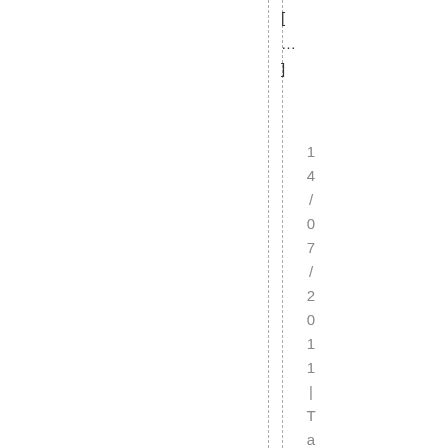[ ... ] 14/07/2011 | Tags: 2009 ...